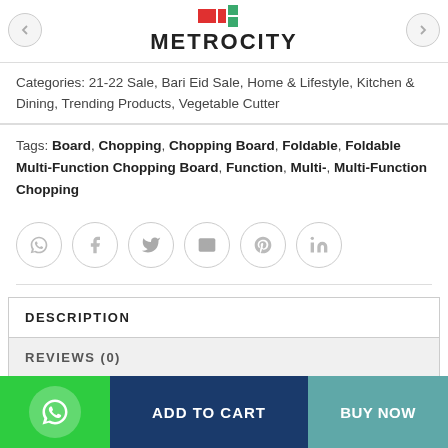[Figure (logo): Metrocity logo with colored squares and bold text METROCITY]
Categories: 21-22 Sale, Bari Eid Sale, Home & Lifestyle, Kitchen & Dining, Trending Products, Vegetable Cutter
Tags: Board, Chopping, Chopping Board, Foldable, Foldable Multi-Function Chopping Board, Function, Multi-, Multi-Function Chopping
[Figure (infographic): Social share icons row: WhatsApp, Facebook, Twitter, Email, Pinterest, LinkedIn]
DESCRIPTION
REVIEWS (0)
[Figure (infographic): Bottom action bar with WhatsApp icon (green), ADD TO CART button (dark blue), BUY NOW button (teal)]